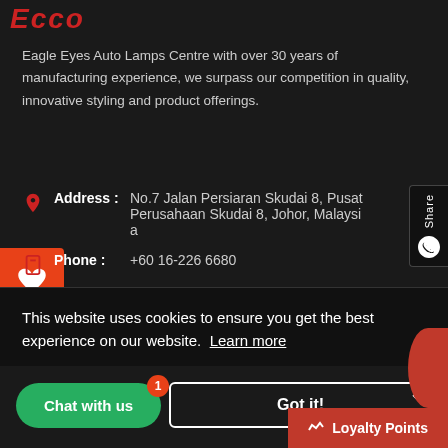[Figure (logo): Eagle Eyes Auto Lamps logo in red italic text]
Eagle Eyes Auto Lamps Centre with over 30 years of manufacturing experience, we surpass our competition in quality, innovative styling and product offerings.
Address : No.7 Jalan Persiaran Skudai 8, Pusat Perusahaan Skudai 8, Johor, Malaysia
Phone : +60 16-226 6680
Email : info@eagleeyes-asia.com
This website uses cookies to ensure you get the best experience on our website. Learn more
Chat with us
Got it!
Loyalty Points